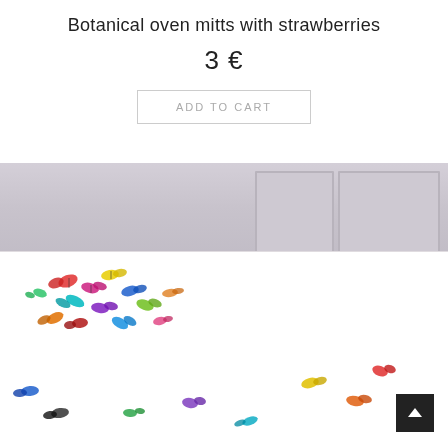Botanical oven mitts with strawberries
3 €
ADD TO CART
[Figure (photo): Product photo showing a white tablecloth with colorful butterfly print pattern, displayed on a table against a grey paneled wall background. Butterflies are scattered across the white fabric in various bright colors including red, blue, yellow, green, and orange.]